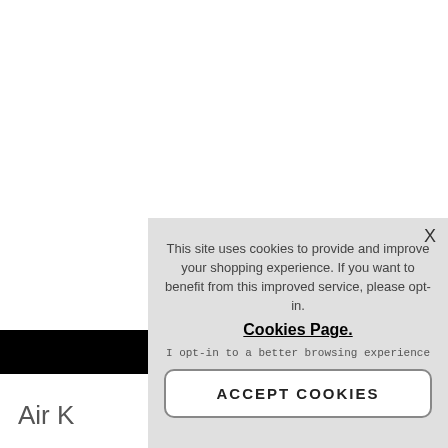[Figure (screenshot): Cookie consent popup overlay on a white webpage background. The popup has a light gray background with an X close button, cookie notice text, a 'Cookies Page.' link, an opt-in line, and an ACCEPT COOKIES button. Behind the popup, a black redacted bar and partial product text 'Air K' with 'Code: 2614' are visible.]
This site uses cookies to provide and improve your shopping experience. If you want to benefit from this improved service, please opt-in. Cookies Page.
I opt-in to a better browsing experience
ACCEPT COOKIES
Air K
Code: 2614